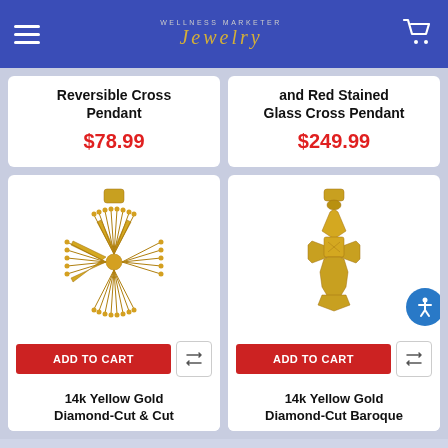Wellness Marketer Jewelry
Reversible Cross Pendant
$78.99
and Red Stained Glass Cross Pendant
$249.99
[Figure (photo): 14k Yellow Gold diamond-cut decorative cross pendant with fan-shaped radiating ends]
ADD TO CART
14k Yellow Gold Diamond-Cut &amp; Cut
[Figure (photo): 14k Yellow Gold diamond-cut Baroque-style cross pendant with flared ends]
ADD TO CART
14k Yellow Gold Diamond-Cut Baroque